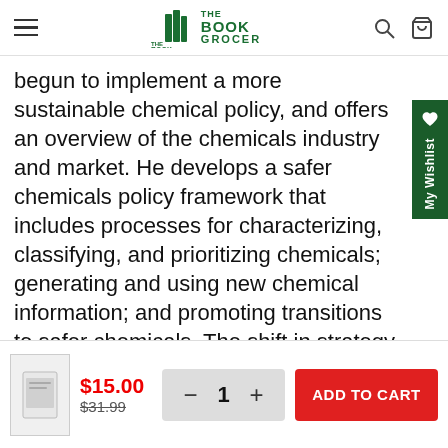The Book Grocer — navigation bar
begun to implement a more sustainable chemical policy, and offers an overview of the chemicals industry and market. He develops a safer chemicals policy framework that includes processes for characterizing, classifying, and prioritizing chemicals; generating and using new chemical information; and promoting transitions to safer chemicals. The shift in strategy described by Geiser will require broad changes in science, the chemicals economy, and government policy. Geiser shows that it is already beginning, identifying an emerging movement of scientists, corporate managers, environmental activists, and government
$15.00 $31.99 − 1 + ADD TO CART